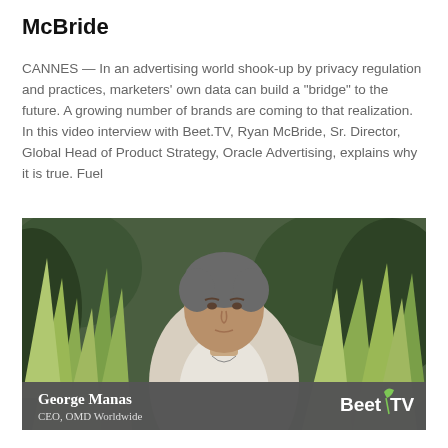McBride
CANNES — In an advertising world shook-up by privacy regulation and practices, marketers' own data can build a "bridge" to the future. A growing number of brands are coming to that realization. In this video interview with Beet.TV, Ryan McBride, Sr. Director, Global Head of Product Strategy, Oracle Advertising, explains why it is true. Fuel
[Figure (photo): Video thumbnail showing a man in a light blazer seated outdoors among tropical plants, with a lower-third caption bar reading 'George Manas, CEO, OMD Worldwide' and the Beet TV logo on the right.]